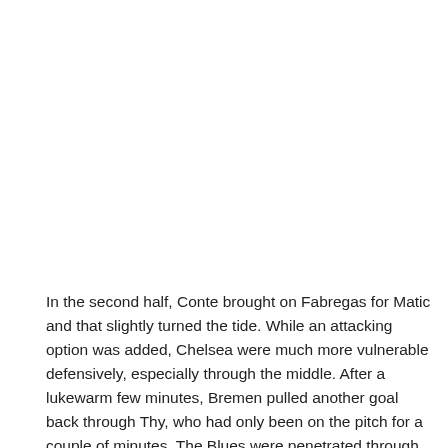In the second half, Conte brought on Fabregas for Matic and that slightly turned the tide. While an attacking option was added, Chelsea were much more vulnerable defensively, especially through the middle. After a lukewarm few minutes, Bremen pulled another goal back through Thy, who had only been on the pitch for a couple of minutes. The Blues were penetrated through the centre, and the striker found the